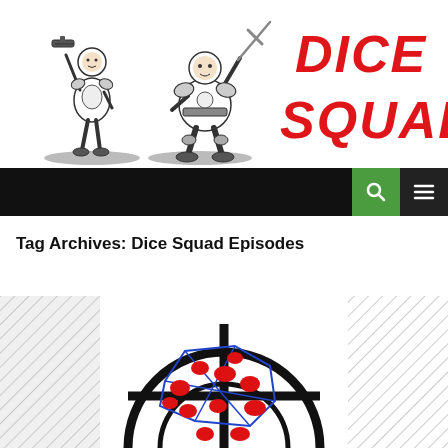[Figure (logo): Dice Squad logo with two armored cartoon characters (one slim holding a gun, one stocky holding a sword) and bold red italic 'DICE SQUAD' text on the right]
[Figure (illustration): Black navigation bar with green search icon button and dark hamburger menu button on the right]
Tag Archives: Dice Squad Episodes
[Figure (illustration): Article thumbnail showing a crosshair/scope reticle in black over a cluster of blue-outlined dice with red dots, flanked by diagonal hatching pattern on both sides]